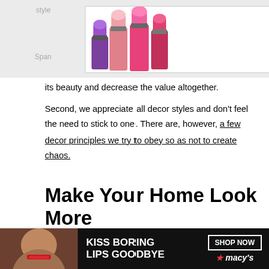[Figure (other): MAC Cosmetics advertisement banner showing colorful lipsticks (purple, pink, red) with MAC logo and SHOP NOW box]
its beauty and decrease the value altogether.
Second, we appreciate all decor styles and don’t feel the need to stick to one. There are, however, a few decor principles we try to obey so as not to create chaos.
Make Your Home Look More Expensive Where It Counts Most
We use cookies on our website to give you the most relevant experience by remembering your preferences and repeat visits. By clicking “Accept All”, you consent to the use of ALL the cookies. However, you may visit “Cookie Settings” to provide a controlled consent.
[Figure (other): Macy's advertisement showing a woman with red lipstick and text KISS BORING LIPS GOODBYE with SHOP NOW button and Macy's logo]